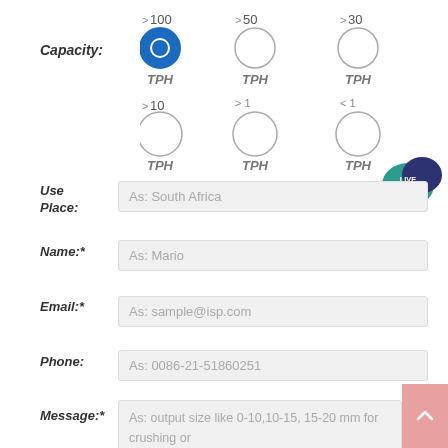Capacity:
[Figure (infographic): Six radio button options for capacity selection: >100 TPH (selected/filled blue), >50 TPH, >30 TPH, >10 TPH, >1 TPH, <1 TPH]
[Figure (infographic): Live Chat speech bubble icon in teal and dark blue]
Use Place:
As: South Africa
Name:*
As: Mario
Email:*
As: sample@isp.com
Phone:
As: 0086-21-51860251
Message:*
As: output size like 0-10,10-15, 15-20 mm for crushing or 75 microns ( 200 meshes) for mill machine and other requirements.